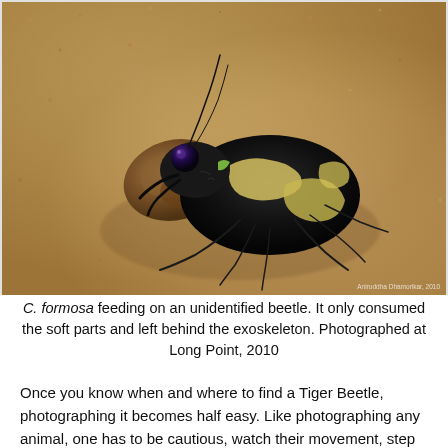[Figure (photo): Close-up macro photograph of a C. formosa tiger beetle feeding on an unidentified beetle on sandy ground. The tiger beetle is black with cream/yellow markings and is holding its prey in its mandibles. The background is sandy beige. A watermark reads 'Aniruddha Dhamorikar, 2010' in the bottom right corner.]
C. formosa feeding on an unidentified beetle. It only consumed the soft parts and left behind the exoskeleton. Photographed at Long Point, 2010
Once you know when and where to find a Tiger Beetle, photographing it becomes half easy. Like photographing any animal, one has to be cautious, watch their movement, step on the right ground in order to keep the subject from spooking and slowly move closer. Tiger Beetles almost always prefer to